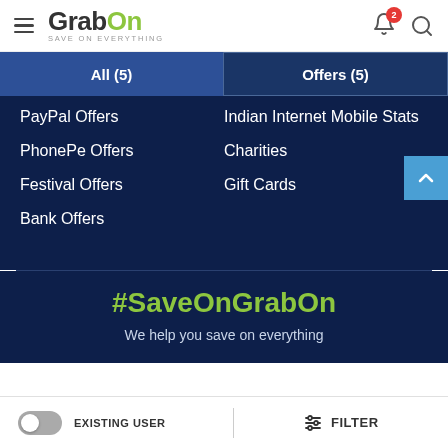GrabOn — SAVE ON EVERYTHING
All (5)
Offers (5)
PayPal Offers
Indian Internet Mobile Stats
PhonePe Offers
Charities
Festival Offers
Gift Cards
Bank Offers
#SaveOnGrabOn
We help you save on everything
EXISTING USER  FILTER